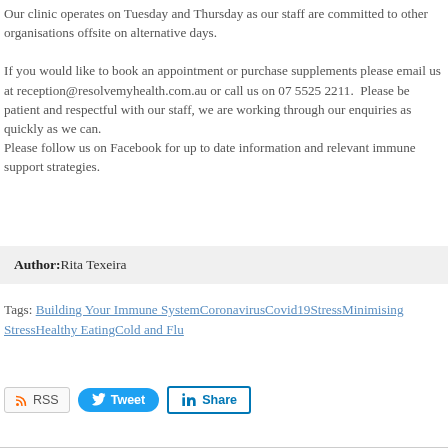Our clinic operates on Tuesday and Thursday as our staff are committed to other organisations offsite on alternative days.

If you would like to book an appointment or purchase supplements please email us at reception@resolvemyhealth.com.au or call us on 07 5525 2211. Please be patient and respectful with our staff, we are working through our enquiries as quickly as we can.
Please follow us on Facebook for up to date information and relevant immune support strategies.
Author: Rita Texeira
Tags: Building Your Immune SystemCoronavirusCovid19StressMinimising StressHealthy EatingCold and Flu